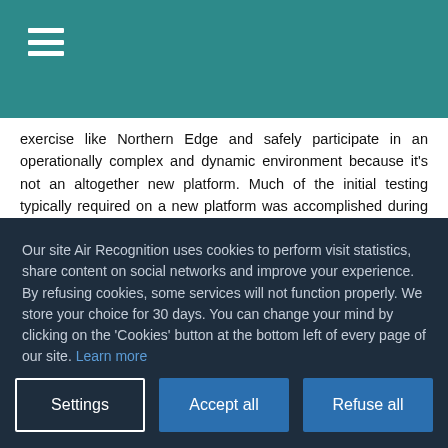☰
exercise like Northern Edge and safely participate in an operationally complex and dynamic environment because it's not an altogether new platform. Much of the initial testing typically required on a new platform was accomplished during flight tests of the other versions of the F-15. This has also allowed for seamless integration between developmental and operational tests between the 53rd Wing,
Our site Air Recognition uses cookies to perform visit statistics, share content on social networks and improve your experience. By refusing cookies, some services will not function properly. We store your choice for 30 days. You can change your mind by clicking on the 'Cookies' button at the bottom left of every page of our site. Learn more
Settings | Accept all | Refuse all